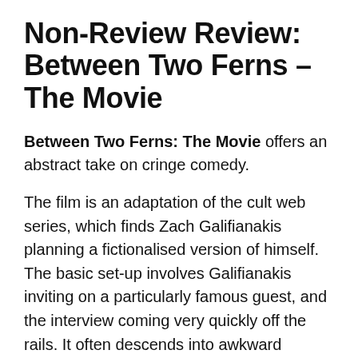Non-Review Review: Between Two Ferns – The Movie
Between Two Ferns: The Movie offers an abstract take on cringe comedy.
The film is an adaptation of the cult web series, which finds Zach Galifianakis planning a fictionalised version of himself. The basic set-up involves Galifianakis inviting on a particularly famous guest, and the interview coming very quickly off the rails. It often descends into awkward silence, although occasionally exchanges get a little punchier. The whole premise is a riff on the absurdity and tedium of celebrity interviews, which very rarely result in something so skin-crawlingly embarrassing, but can still feel deeply uncomfortable for both audience and participants.